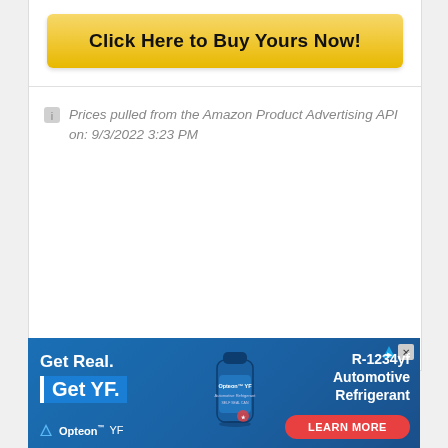[Figure (other): Yellow gradient 'Click Here to Buy Yours Now!' button]
Prices pulled from the Amazon Product Advertising API on: 9/3/2022 3:23 PM
[Figure (illustration): Advertisement banner: 'Get Real. Get YF. Opteon YF' with a can of Opteon YF Automotive Refrigerant and text 'R-1234yf Automotive Refrigerant' with a 'LEARN MORE' button]